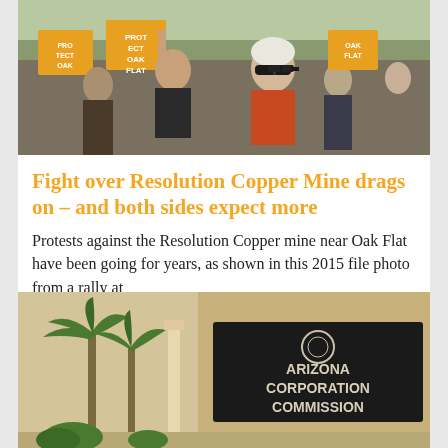[Figure (photo): Protest photo showing people holding signs, a man and a woman with white hair wearing sunglasses, outdoors at a rally.]
Fight over Resolution Copper Mine drags on – and both sides expect more
Protests against the Resolution Copper mine near Oak Flat have been going for years, as shown in this 2015 file photo from a rally at
Read More »
[Figure (photo): Photo of Arizona Corporation Commission building exterior with sign reading ARIZONA CORPORATION COMMISSION on a dark background, palm trees visible.]